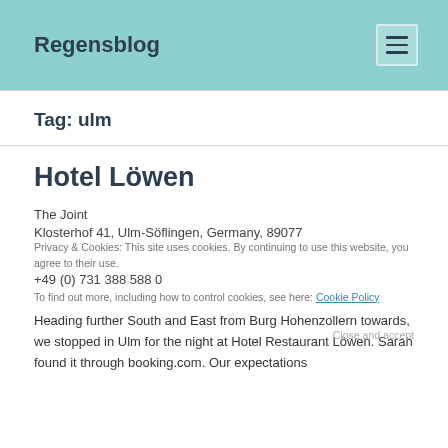Regensblog
Tag: ulm
Hotel Löwen
The Joint
Klosterhof 41, Ulm-Söflingen, Germany, 89077
+49 (0) 731 388 588 0
Privacy & Cookies: This site uses cookies. By continuing to use this website, you agree to their use. To find out more, including how to control cookies, see here: Cookie Policy
Close and accept
Heading further South and East from Burg Hohenzollern towards, we stopped in Ulm for the night at Hotel Restaurant Löwen. Sarah found it through booking.com. Our expectations